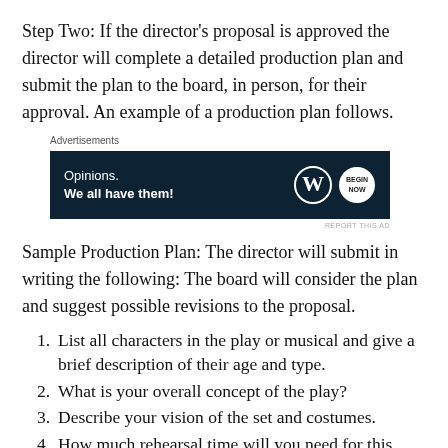Step Two: If the director's proposal is approved the director will complete a detailed production plan and submit the plan to the board, in person, for their approval. An example of a production plan follows.
[Figure (other): Advertisement banner with dark navy background showing 'Opinions. We all have them!' text with WordPress and Begin Now logos on the right.]
Sample Production Plan: The director will submit in writing the following: The board will consider the plan and suggest possible revisions to the proposal.
List all characters in the play or musical and give a brief description of their age and type.
What is your overall concept of the play?
Describe your vision of the set and costumes.
How much rehearsal time will you need for this play?